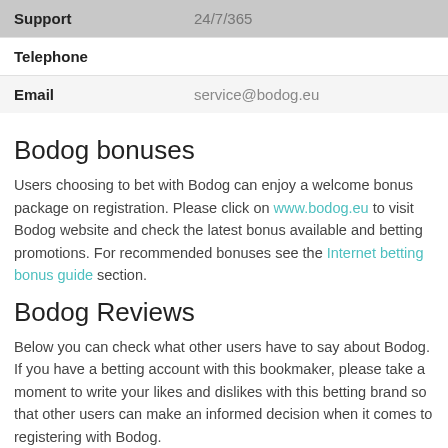|  |  |
| --- | --- |
| Support | 24/7/365 |
| Telephone |  |
| Email | service@bodog.eu |
Bodog bonuses
Users choosing to bet with Bodog can enjoy a welcome bonus package on registration. Please click on www.bodog.eu to visit Bodog website and check the latest bonus available and betting promotions. For recommended bonuses see the Internet betting bonus guide section.
Bodog Reviews
Below you can check what other users have to say about Bodog. If you have a betting account with this bookmaker, please take a moment to write your likes and dislikes with this betting brand so that other users can make an informed decision when it comes to registering with Bodog.